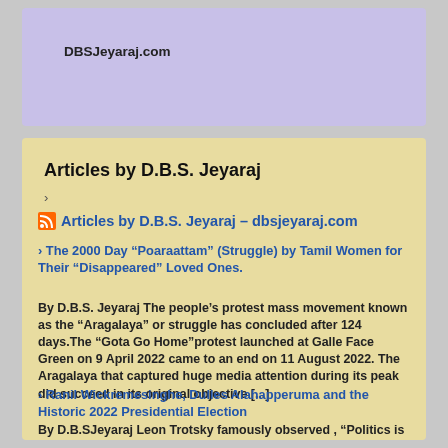DBSJeyaraj.com
Articles by D.B.S. Jeyaraj
›
Articles by D.B.S. Jeyaraj – dbsjeyaraj.com
› The 2000 Day “Poaraattam” (Struggle) by Tamil Women for Their “Disappeared” Loved Ones.
By D.B.S. Jeyaraj The people’s protest mass movement known as the “Aragalaya” or struggle has concluded after 124 days.The “Gota Go Home”protest launched at Galle Face Green on 9 April 2022 came to an end on 11 August 2022. The Aragalaya that captured huge media attention during its peak did succeed in its original objective [...]
› Ranil Wickremesinghe, Dulles Alahapperuma and the Historic 2022 Presidential Election
By D.B.S Jeyaraj Leon Trotsky famously observed , “Politics is more like algebra than like elementary arithmetic, and